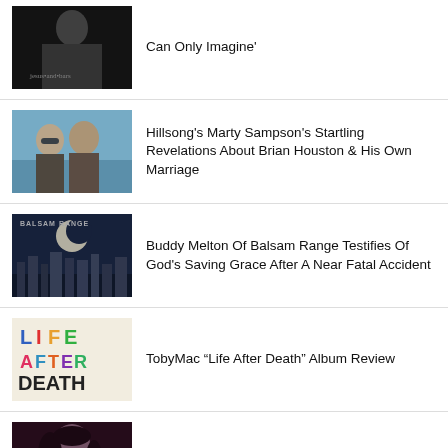[Figure (photo): Dark portrait image of a person, Jesus-and-bars text visible]
Can Only Imagine'
[Figure (photo): Couple wearing sunglasses outdoors near water]
Hillsong's Marty Sampson's Startling Revelations About Brian Houston & His Own Marriage
[Figure (photo): Balsam Range album cover with moon and city skyline]
Buddy Melton Of Balsam Range Testifies Of God's Saving Grace After A Near Fatal Accident
[Figure (photo): Life After Death album cover with colorful text]
TobyMac “Life After Death” Album Review
[Figure (photo): Portrait of a woman with dark hair against dark background]
Joy Williams Reveals The Real Reason Behind Civil War's Breakup